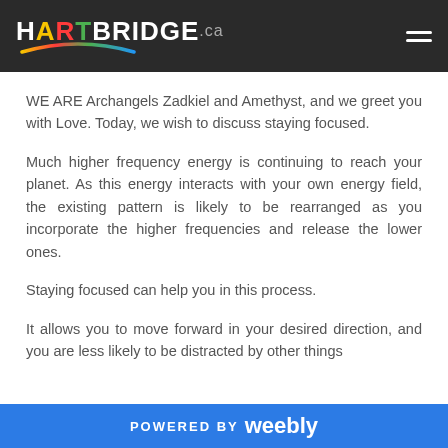HARTBRIDGE.ca
WE ARE Archangels Zadkiel and Amethyst, and we greet you with Love. Today, we wish to discuss staying focused.
Much higher frequency energy is continuing to reach your planet. As this energy interacts with your own energy field, the existing pattern is likely to be rearranged as you incorporate the higher frequencies and release the lower ones.
Staying focused can help you in this process.
It allows you to move forward in your desired direction, and you are less likely to be distracted by other things
POWERED BY weebly